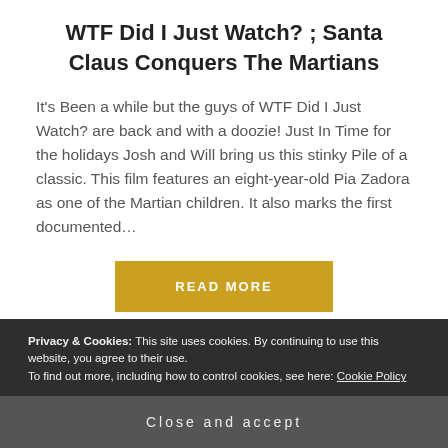WTF Did I Just Watch? ; Santa Claus Conquers The Martians
It’s Been a while but the guys of WTF Did I Just Watch? are back and with a doozie! Just In Time for the holidays Josh and Will bring us this stinky Pile of a classic. This film features an eight-year-old Pia Zadora as one of the Martian children. It also marks the first documented…
READ MORE
Privacy & Cookies: This site uses cookies. By continuing to use this website, you agree to their use.
To find out more, including how to control cookies, see here: Cookie Policy
Close and accept